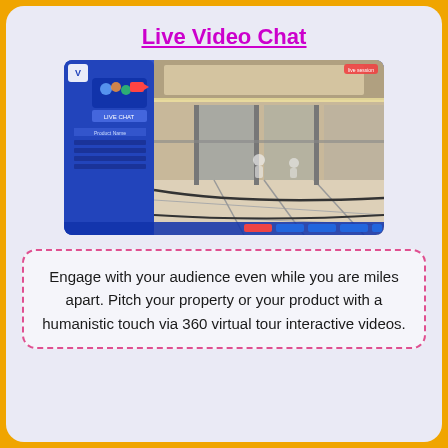Live Video Chat
[Figure (screenshot): Screenshot of a virtual tour platform showing a 360 virtual lobby/mall interior with a live chat panel overlay on the left side.]
Engage with your audience even while you are miles apart. Pitch your property or your product with a humanistic touch via 360 virtual tour interactive videos.